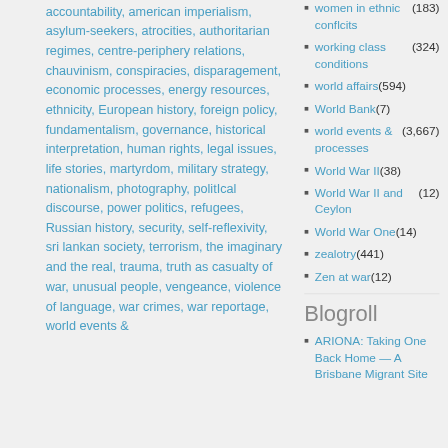accountability, american imperialism, asylum-seekers, atrocities, authoritarian regimes, centre-periphery relations, chauvinism, conspiracies, disparagement, economic processes, energy resources, ethnicity, European history, foreign policy, fundamentalism, governance, historical interpretation, human rights, legal issues, life stories, martyrdom, military strategy, nationalism, photography, politIcal discourse, power politics, refugees, Russian history, security, self-reflexivity, sri lankan society, terrorism, the imaginary and the real, trauma, truth as casualty of war, unusual people, vengeance, violence of language, war crimes, war reportage, world events &
women in ethnic conflcits (183)
working class conditions (324)
world affairs (594)
World Bank (7)
world events & processes (3,667)
World War II (38)
World War II and Ceylon (12)
World War One (14)
zealotry (441)
Zen at war (12)
Blogroll
ARIONA: Taking One Back Home — A Brisbane Migrant Site